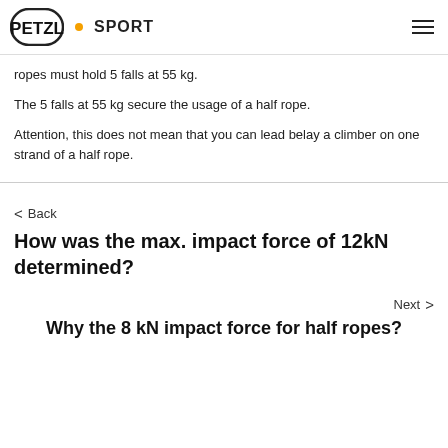PETZL • SPORT
ropes must hold 5 falls at 55 kg.
The 5 falls at 55 kg secure the usage of a half rope.
Attention, this does not mean that you can lead belay a climber on one strand of a half rope.
< Back
How was the max. impact force of 12kN determined?
Next >
Why the 8 kN impact force for half ropes?